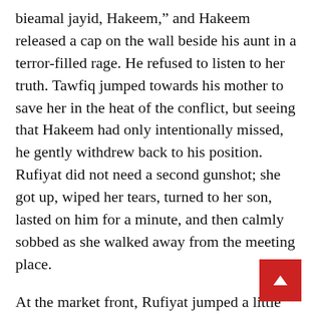bieamal jayid, Hakeem," and Hakeem released a cap on the wall beside his aunt in a terror-filled rage. He refused to listen to her truth. Tawfiq jumped towards his mother to save her in the heat of the conflict, but seeing that Hakeem had only intentionally missed, he gently withdrew back to his position. Rufiyat did not need a second gunshot; she got up, wiped her tears, turned to her son, lasted on him for a minute, and then calmly sobbed as she walked away from the meeting place.
At the market front, Rufiyat jumped a little when her name was called from a distance. All the way from her son back to the market had been a sluggish drift of aloofness. Emeka, her neighbour trader in onions at the market, who had become something of a second son slash friend to her was the one who called. She touched her face to ensure